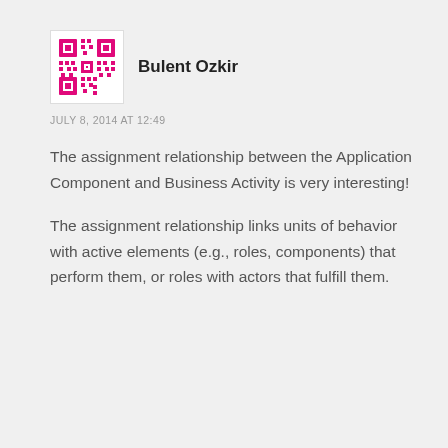[Figure (photo): Avatar/profile image for Bulent Ozkir — a pink/magenta QR-code style pixel pattern icon]
Bulent Ozkir
JULY 8, 2014 AT 12:49
The assignment relationship between the Application Component and Business Activity is very interesting!
The assignment relationship links units of behavior with active elements (e.g., roles, components) that perform them, or roles with actors that fulfill them.